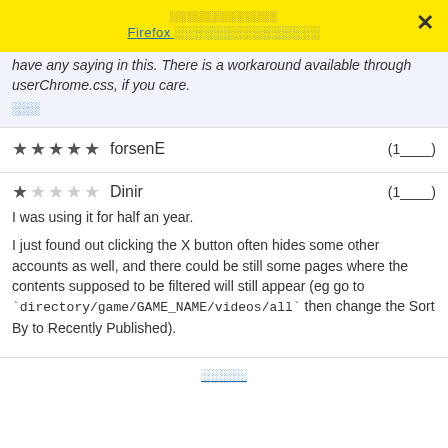░░░░░░░░░░░░░ Firefox ░░░░░░░░░░░░░░░
have any saying in this. There is a workaround available through userChrome.css, if you care.
░░░
★★★★★ forsenE (1___)
★☆☆☆☆ Dinir (1___)
I was using it for half an year.

I just found out clicking the X button often hides some other accounts as well, and there could be still some pages where the contents supposed to be filtered will still appear (eg go to `directory/game/GAME_NAME/videos/all` then change the Sort By to Recently Published).
░░░░░